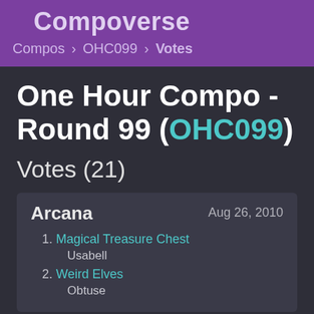Compoverse
Compos > OHC099 > Votes
One Hour Compo - Round 99 (OHC099)
Votes (21)
Arcana
Aug 26, 2010
1. Magical Treasure Chest
Usabell
2. Weird Elves
Obtuse